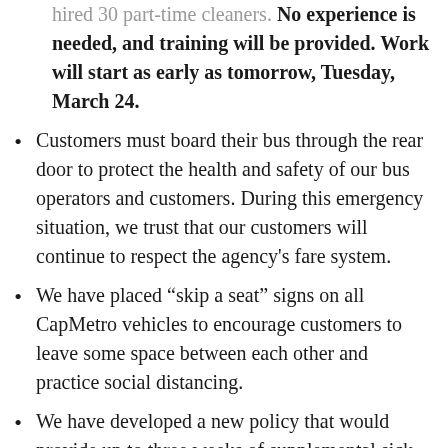hired 30 part-time cleaners. No experience is needed, and training will be provided. Work will start as early as tomorrow, Tuesday, March 24.
Customers must board their bus through the rear door to protect the health and safety of our bus operators and customers. During this emergency situation, we trust that our customers will continue to respect the agency's fare system.
We have placed “skip a seat” signs on all CapMetro vehicles to encourage customers to leave some space between each other and practice social distancing.
We have developed a new policy that would provide up to three weeks of supplemental sick leave for employees of CapMetro and our contractors. This would apply if the employee or a member of their household is affected by COVID-